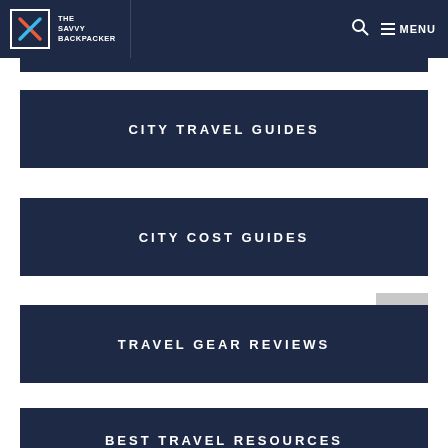THE SAVVY BACKPACKER
CITY TRAVEL GUIDES
CITY COST GUIDES
TRAVEL GEAR REVIEWS
BEST TRAVEL RESOURCES